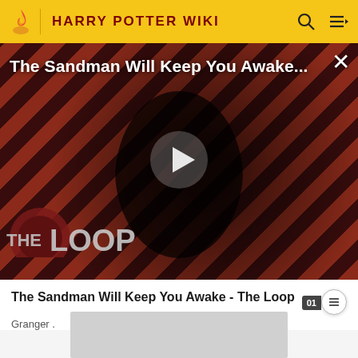HARRY POTTER WIKI
[Figure (screenshot): Video player showing 'The Sandman Will Keep You Awake...' with a dark-cloaked figure against a red diagonal stripe background. The Loop logo visible in lower left. White play button triangle in center. Close X button top right.]
The Sandman Will Keep You Awake - The Loop
Granger .